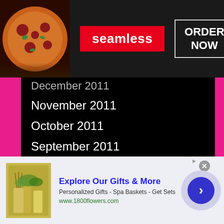[Figure (screenshot): Seamless food delivery advertisement banner with pizza image on left, red Seamless logo in center, ORDER NOW button on right, dark background]
December 2011
November 2011
October 2011
September 2011
August 2011
July 2011
June 2011
May 2011
April 2011
March 2011
[Figure (screenshot): 1800flowers.com advertisement with gift basket product image, title Explore Our Gifts & More, subtitle Personalized Gifts - Spa Baskets - Get Sets, URL www.1800flowers.com, arrow button on right]